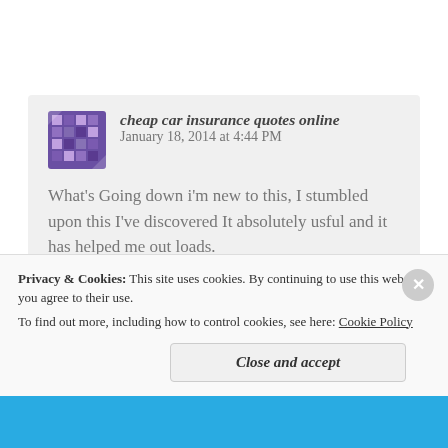cheap car insurance quotes online   January 18, 2014 at 4:44 PM
What's Going down i'm new to this, I stumbled upon this I've discovered It absolutely usful and it has helped me out loads.
I am hoping to give a contribution & assist other users like its aided me. Good job.
Privacy & Cookies:  This site uses cookies. By continuing to use this website, you agree to their use.
To find out more, including how to control cookies, see here: Cookie Policy
Close and accept